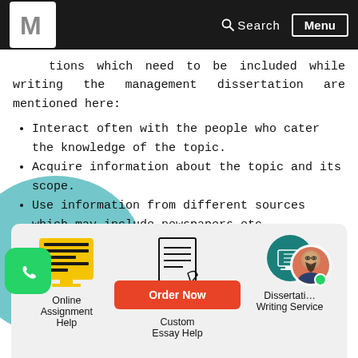Search  Menu
tions which need to be included while writing the management dissertation are mentioned here:
Interact often with the people who cater the knowledge of the topic.
Acquire information about the topic and its scope.
Use information from different sources which may include newspapers etc.
Implement your creativity.
Consult and seek guidance from the experts.
[Figure (infographic): Bottom card with three service icons: Online Assignment Help (yellow icon), Order Now button (red), Custom Essay Help (line art icon), Dissertation Writing Service (teal icon with avatar). WhatsApp button on lower left.]